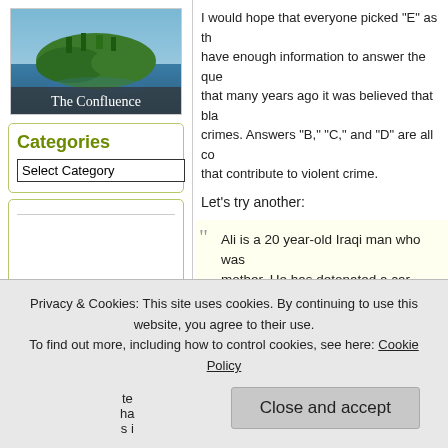[Figure (photo): Aerial photo of a coastal landmass with water, with white text overlay reading 'The Confluence']
Categories
Select Category
Tags
abortion Add new tag Afghanistan Al Franken
I would hope that everyone picked “E” as th… have enough information to answer the que… that many years ago it was believed that bla… crimes. Answers “B,” “C,” and “D” are all co… that contribute to violent crime.
Let’s try another:
Ali is a 20 year-old Iraqi man who was… mother. He has detonated a car bom…

A. He is a Muslim

B. He is a Muslim

C. He is a Muslim

D. He is a Muslim
Privacy & Cookies: This site uses cookies. By continuing to use this website, you agree to their use.
To find out more, including how to control cookies, see here: Cookie Policy
Close and accept
killings” and female genital mutilation. Bu…
Conflucians Say Dailykos